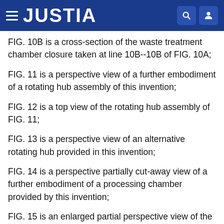JUSTIA
FIG. 10B is a cross-section of the waste treatment chamber closure taken at line 10B--10B of FIG. 10A;
FIG. 11 is a perspective view of a further embodiment of a rotating hub assembly of this invention;
FIG. 12 is a top view of the rotating hub assembly of FIG. 11;
FIG. 13 is a perspective view of an alternative rotating hub provided in this invention;
FIG. 14 is a perspective partially cut-away view of a further embodiment of a processing chamber provided by this invention;
FIG. 15 is an enlarged partial perspective view of the means by which the cutting blades of the processing chamber of FIG. 14 are secured to the rotating hub